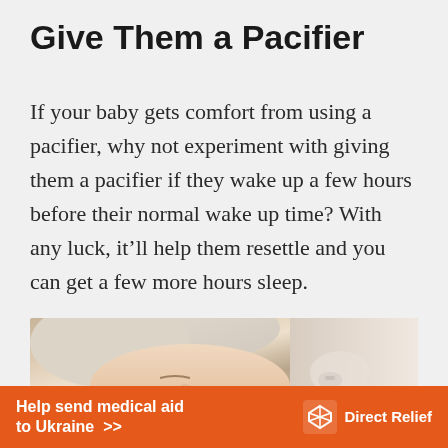Give Them a Pacifier
If your baby gets comfort from using a pacifier, why not experiment with giving them a pacifier if they wake up a few hours before their normal wake up time? With any luck, it'll help them resettle and you can get a few more hours sleep.
[Figure (photo): Close-up photo of a sleeping baby wrapped in a soft towel or blanket, with a pacifier visible]
Help send medical aid to Ukraine >> Direct Relief